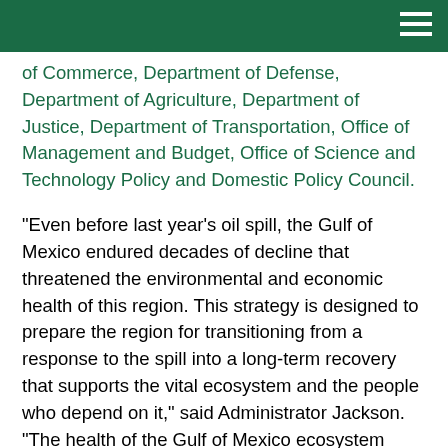[Navigation bar with hamburger menu]
of Commerce, Department of Defense, Department of Agriculture, Department of Justice, Department of Transportation, Office of Management and Budget, Office of Science and Technology Policy and Domestic Policy Council.
"Even before last year’s oil spill, the Gulf of Mexico endured decades of decline that threatened the environmental and economic health of this region. This strategy is designed to prepare the region for transitioning from a response to the spill into a long-term recovery that supports the vital ecosystem and the people who depend on it," said Administrator Jackson. "The health of the Gulf of Mexico ecosystem starts and ends with its people and its communities. The individuals and families who